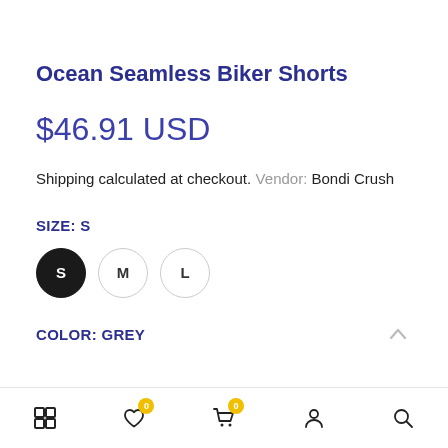Ocean Seamless Biker Shorts
$46.91 USD
Shipping calculated at checkout.
Vendor: Bondi Crush
SIZE: S
COLOR: GREY
Grid | Wishlist 0 | Cart 0 | Account | Search